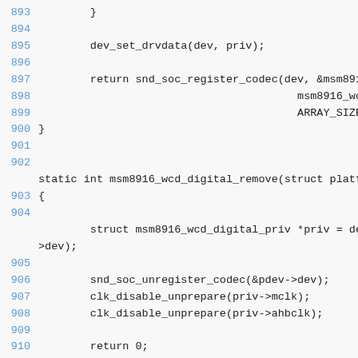Source code listing lines 893-911 showing C functions dev_set_drvdata, snd_soc_register_codec, msm8916_wcd_digital_remove, snd_soc_unregister_codec, clk_disable_unprepare